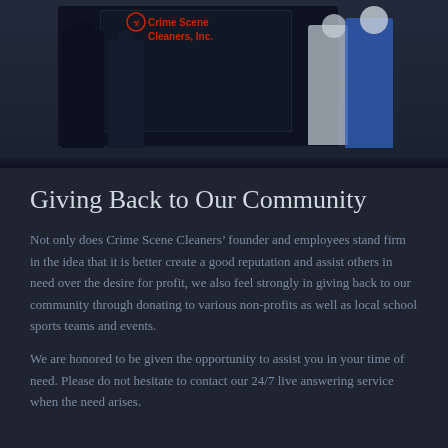[Figure (photo): Group photo of Crime Scene Cleaners founder and employees standing in front of a dark van with the Crime Scene Cleaners, Inc. logo in red on the vehicle door.]
Giving Back to Our Community
Not only does Crime Scene Cleaners’ founder and employees stand firm in the idea that it is better create a good reputation and assist others in need over the desire for profit, we also feel strongly in giving back to our community through donating to various non-profits as well as local school sports teams and events.
We are honored to be given the opportunity to assist you in your time of need. Please do not hesitate to contact our 24/7 live answering service when the need arises.